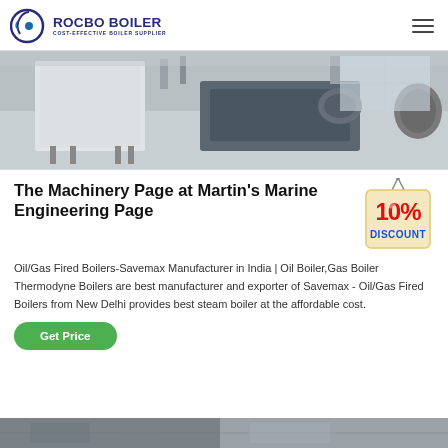ROCBO BOILER — COST-EFFECTIVE BOILER SUPPLIER
[Figure (photo): Industrial boiler machinery room with equipment on light-coloured floor]
The Machinery Page at Martin's Marine Engineering Page
[Figure (infographic): 10% DISCOUNT badge/tag graphic]
Oil/Gas Fired Boilers-Savemax Manufacturer in India | Oil Boiler,Gas Boiler Thermodyne Boilers are best manufacturer and exporter of Savemax - Oil/Gas Fired Boilers from New Delhi provides best steam boiler at the affordable cost.
[Figure (photo): Bottom strip of another industrial/boiler facility image, partially cropped]